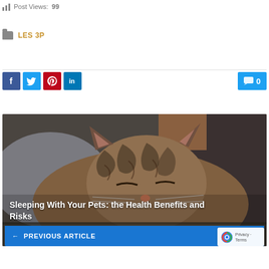Post Views: 99
LES 3P
[Figure (photo): Sleeping tabby cat with striped fur, eyes closed, resting on a dark surface. Text overlay reads: Sleeping With Your Pets: the Health Benefits and Risks. Below is a blue Previous Article navigation bar.]
Sleeping With Your Pets: the Health Benefits and Risks
← PREVIOUS ARTICLE